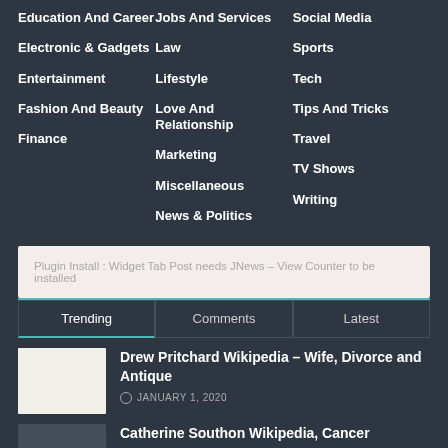Education And Career
Electronic & Gadgets
Entertainment
Fashion And Beauty
Finance
Jobs And Services
Law
Lifestyle
Love And Relationship
Marketing
Miscellaneous
News & Politics
Social Media
Sports
Tech
Tips And Tricks
Travel
TV Shows
Writing
Plugin Install : Widget Tab Post needs JNews – View Counter to be installed
Trending | Comments | Latest
Drew Pritchard Wikipedia – Wife, Divorce and Antique
JANUARY 1, 2020
Catherine Southon Wikipedia, Cancer